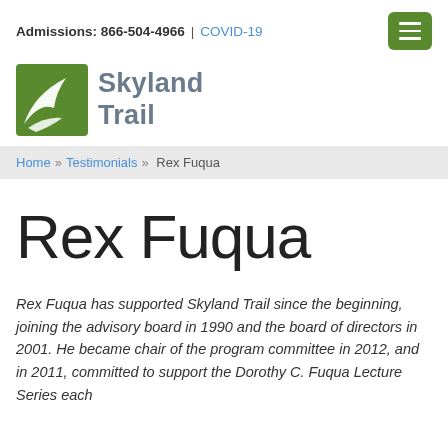Admissions: 866-504-4966 | COVID-19
[Figure (logo): Skyland Trail logo with green stylized bird/trail mark and text 'Skyland Trail']
Home » Testimonials » Rex Fuqua
Rex Fuqua
Rex Fuqua has supported Skyland Trail since the beginning, joining the advisory board in 1990 and the board of directors in 2001. He became chair of the program committee in 2012, and in 2011, committed to support the Dorothy C. Fuqua Lecture Series each